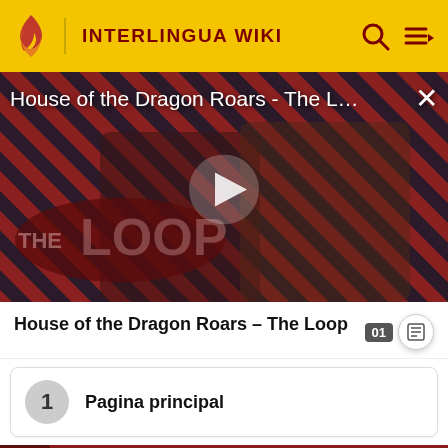INTERLINGUA WIKI
[Figure (screenshot): Video thumbnail for 'House of the Dragon Roars - The L...' showing two characters in medieval costumes against a striped red/black background with 'THE LOOP' text overlay and a play button in the center]
House of the Dragon Roars - The Loop
1  Pagina principal
[Figure (screenshot): Partial bottom strip showing a red/dark themed image banner, partially cut off]